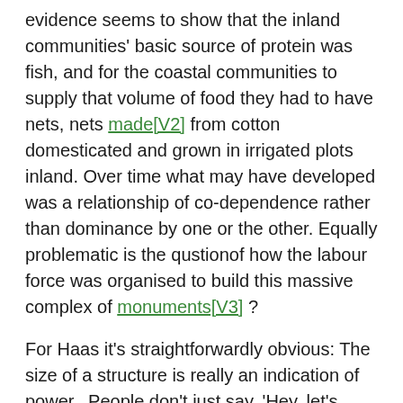evidence seems to show that the inland communities' basic source of protein was fish, and for the coastal communities to supply that volume of food they had to have nets, nets made[V2] from cotton domesticated and grown in irrigated plots inland. Over time what may have developed was a relationship of co-dependence rather than dominance by one or the other. Equally problematic is the qustionof how the labour force was organised to build this massive complex of monuments[V3] ?
For Haas it's straightforwardly obvious: The size of a structure is really an indication of power...People don't just say, 'Hey, let's build a great big monument.' They do it because they're told to and because the consequences of not doing so are significant.[39] Shady is likewise in no doubt, it was a proto-state run by an elite in the service of a religious ideology: 'Religion functioned as the instrument of cohesion and coercion, and it was very effective[40] But her key claim for the necessary existence of an elite hierarchy dominated by religious and